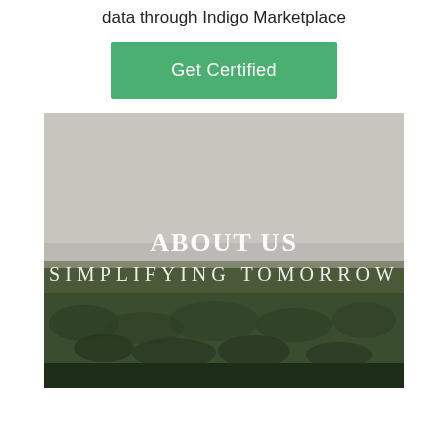data through Indigo Marketplace
Get Certified
[Figure (photo): Aerial photograph of a dense forest with misty sky, overlaid with text 'About Us' and 'Simplifying Tomorrow']